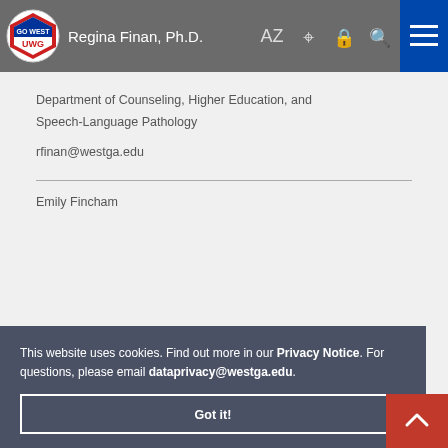Regina Finan, Ph.D.
Department of Counseling, Higher Education, and Speech-Language Pathology
rfinan@westga.edu
Emily Fincham
This website uses cookies. Find out more in our Privacy Notice. For questions, please email dataprivacy@westga.edu.
Got it!
Department of Counseling, Higher Education, and